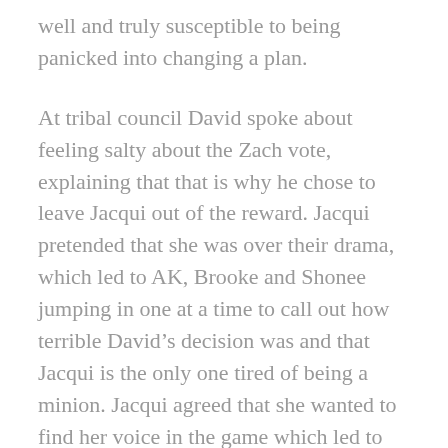well and truly susceptible to being panicked into changing a plan.
At tribal council David spoke about feeling salty about the Zach vote, explaining that that is why he chose to leave Jacqui out of the reward. Jacqui pretended that she was over their drama, which led to AK, Brooke and Shonee jumping in one at a time to call out how terrible David’s decision was and that Jacqui is the only one tired of being a minion. Jacqui agreed that she wanted to find her voice in the game which led to Shonee pointing out that nobody in the rival alliance actually wants to take her to the end. Moana called bullshit on the comment, assuring Jacqui that she protects her and one emotional decision doesn’t change where she sits in the alliance. Tarzan wisely pointed out that if Jacqui jumps from one alliance to